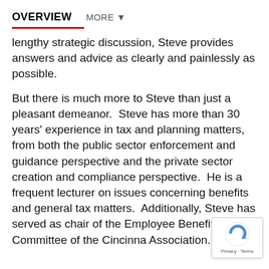OVERVIEW   MORE ▼
lengthy strategic discussion, Steve provides answers and advice as clearly and painlessly as possible.
But there is much more to Steve than just a pleasant demeanor.  Steve has more than 30 years' experience in tax and planning matters, from both the public sector enforcement and guidance perspective and the private sector creation and compliance perspective.  He is a frequent lecturer on issues concerning benefits and general tax matters.  Additionally, Steve has served as chair of the Employee Benefits Committee of the Cincinna Association.